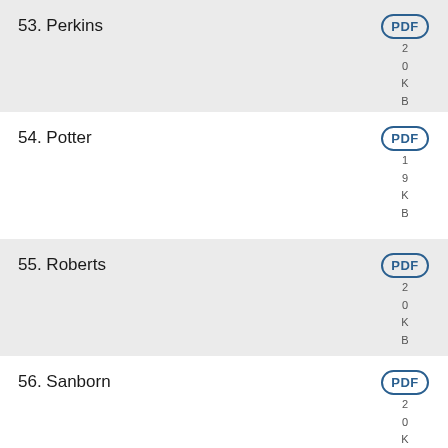53. Perkins
54. Potter
55. Roberts
56. Sanborn